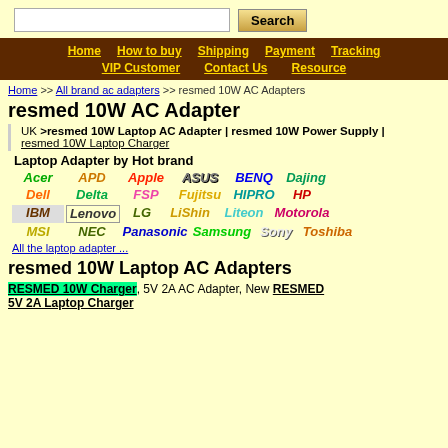Search bar with Search button
Home | How to buy | Shipping | Payment | Tracking | VIP Customer | Contact Us | Resource
Home >> All brand ac adapters >> resmed 10W AC Adapters
resmed 10W AC Adapter
UK >resmed 10W Laptop AC Adapter | resmed 10W Power Supply | resmed 10W Laptop Charger
Laptop Adapter by Hot brand
[Figure (other): Brand logo grid: Acer, APD, Apple, ASUS, BENQ, Dajing, Dell, Delta, FSP, Fujitsu, HIPRO, HP, IBM, Lenovo, LG, LiShin, Liteon, Motorola, MSI, NEC, Panasonic, Samsung, Sony, Toshiba]
All the laptop adapter ...
resmed 10W Laptop AC Adapters
RESMED 10W Charger, 5V 2A AC Adapter, New RESMED 5V 2A Laptop Charger